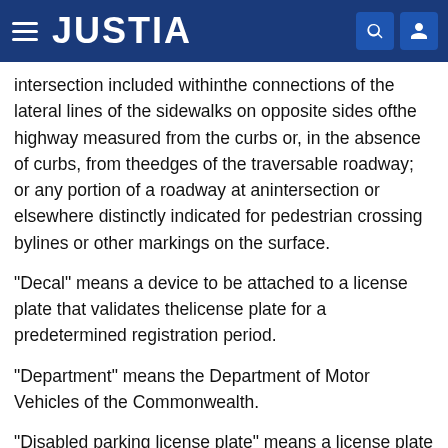JUSTIA
intersection included withinthe connections of the lateral lines of the sidewalks on opposite sides ofthe highway measured from the curbs or, in the absence of curbs, from theedges of the traversable roadway; or any portion of a roadway at anintersection or elsewhere distinctly indicated for pedestrian crossing bylines or other markings on the surface.
"Decal" means a device to be attached to a license plate that validates thelicense plate for a predetermined registration period.
"Department" means the Department of Motor Vehicles of the Commonwealth.
"Disabled parking license plate" means a license plate that displays theinternational symbol of access in the manner prescribed by the date and hi...